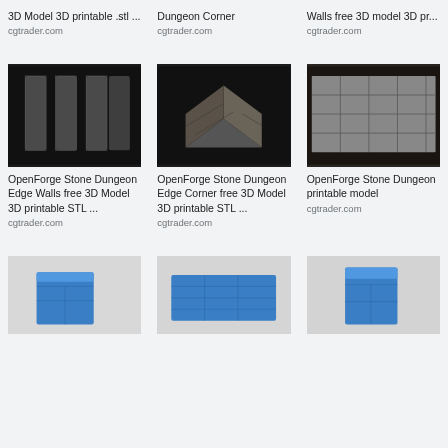3D Model 3D printable .stl ...
cgtrader.com
Dungeon Corner
cgtrader.com
Walls free 3D model 3D pri...
cgtrader.com
[Figure (photo): 3D printed stone dungeon edge walls, multiple pieces on dark background]
OpenForge Stone Dungeon Edge Walls free 3D Model 3D printable STL ...
cgtrader.com
[Figure (photo): 3D printed stone dungeon edge corner piece on dark background]
OpenForge Stone Dungeon Edge Corner free 3D Model 3D printable STL ...
cgtrader.com
[Figure (photo): 3D printed stone dungeon floor tiles on dark background]
OpenForge Stone Dungeon printable model
cgtrader.com
[Figure (photo): Blue 3D printed dungeon wall piece on grey background]
[Figure (photo): Blue 3D printed dungeon flat wall on grey background]
[Figure (photo): Blue 3D printed dungeon corner wall on grey background]